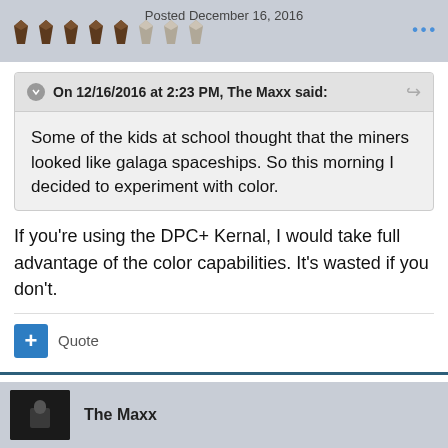Posted December 16, 2016
On 12/16/2016 at 2:23 PM, The Maxx said: Some of the kids at school thought that the miners looked like galaga spaceships. So this morning I decided to experiment with color.
If you're using the DPC+ Kernal, I would take full advantage of the color capabilities. It's wasted if you don't.
Quote
The Maxx